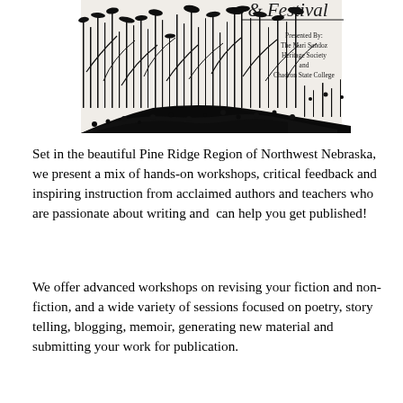[Figure (illustration): Black and white illustration of tall grasses and wildflowers in the Pine Ridge style, with text overlay reading '& Festival' in decorative font. Text block below image reads 'Presented By: The Mari Sandoz Heritage Society and Chadron State College'.]
Set in the beautiful Pine Ridge Region of Northwest Nebraska, we present a mix of hands-on workshops, critical feedback and inspiring instruction from acclaimed authors and teachers who are passionate about writing and  can help you get published!
We offer advanced workshops on revising your fiction and non-fiction, and a wide variety of sessions focused on poetry, story telling, blogging, memoir, generating new material and submitting your work for publication.